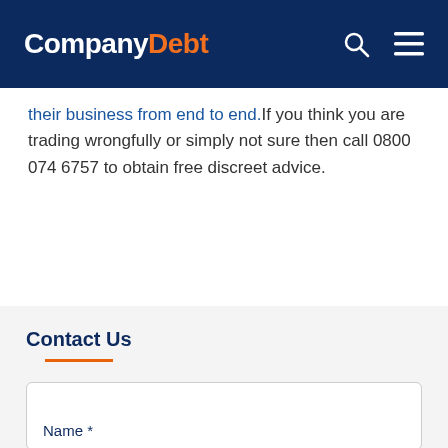CompanyDebt
their business from end to end.If you think you are trading wrongfully or simply not sure then call 0800 074 6757 to obtain free discreet advice.
Contact Us
Name *
Email*